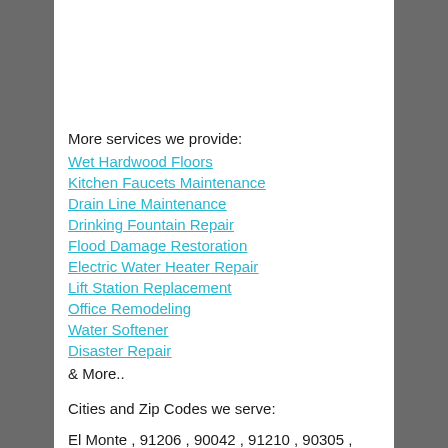More services we provide:
Wet Hardwood Floors
Kitchen Faucets Maintenance
Drain Line Maintenance
Drinking Fountain Repair
Flood Damage Restoration
Electric Water Heater Repair
Lift Station Replacement
Office Remodeling
Water Softener
Disaster Repair
& More..
Cities and Zip Codes we serve:
El Monte , 91206 , 90042 , 91210 , 90305 , 90609 ,